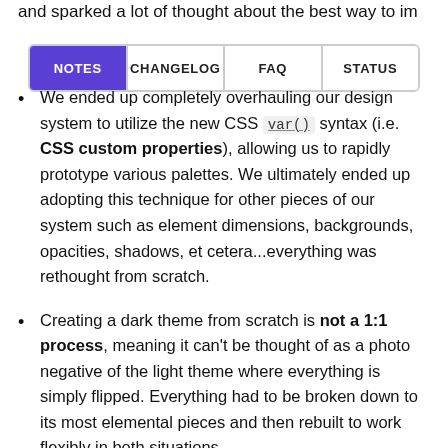and sparked a lot of thought about the best way to im
[Figure (screenshot): Tab navigation bar with four tabs: NOTES (active, purple background), CHANGELOG, FAQ, STATUS]
We ended up completely overhauling our design system to utilize the new CSS var() syntax (i.e. CSS custom properties), allowing us to rapidly prototype various palettes. We ultimately ended up adopting this technique for other pieces of our system such as element dimensions, backgrounds, opacities, shadows, et cetera...everything was rethought from scratch.
Creating a dark theme from scratch is not a 1:1 process, meaning it can't be thought of as a photo negative of the light theme where everything is simply flipped. Everything had to be broken down to its most elemental pieces and then rebuilt to work flexibly in both situations.